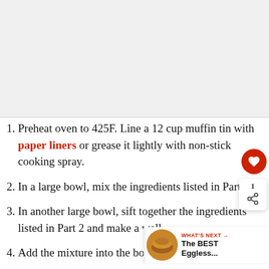[Figure (photo): Placeholder image area at top of page — light gray background, appears to be a food/recipe image that is not fully visible]
Preheat oven to 425F. Line a 12 cup muffin tin with paper liners or grease it lightly with non-stick cooking spray.
In a large bowl, mix the ingredients listed in Part 1.
In another large bowl, sift together the ingredients listed in Part 2 and make a well.
Add the mixture into the bowl...